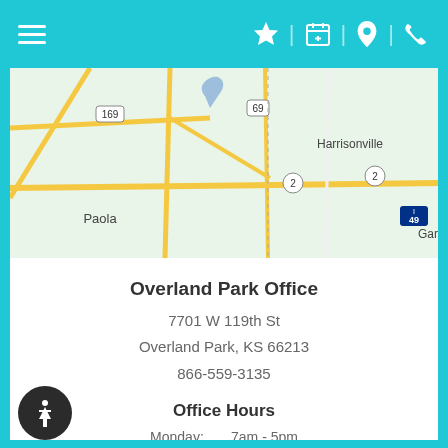[Figure (map): Map showing area around Overland Park, Kansas with highways 169, 69, 49, roads near Paola and Harrisonville visible]
Overland Park Office
7701 W 119th St
Overland Park, KS 66213
866-559-3135
Office Hours
Monday:     7am - 5pm
Tuesday:    7am - 5pm
Wednesday:  7am - 5pm
Thursday:   7am - 5pm
Friday:     7am - 12pm